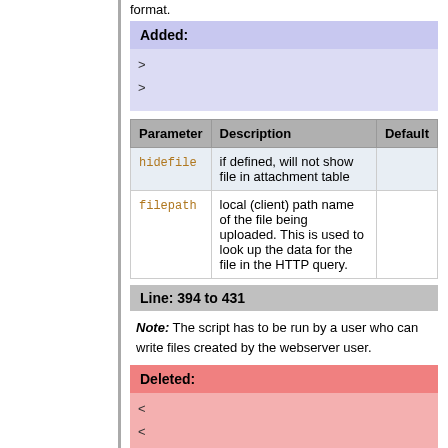format.
Added:
> >
| Parameter | Description | Default |
| --- | --- | --- |
| hidefile | if defined, will not show file in attachment table |  |
| filepath | local (client) path name of the file being uploaded. This is used to look up the data for the file in the HTTP query. |  |
Line: 394 to 431
Note: The script has to be run by a user who can write files created by the webserver user.
Deleted:
< <
Related Topics: AdminDocumentationCategory,